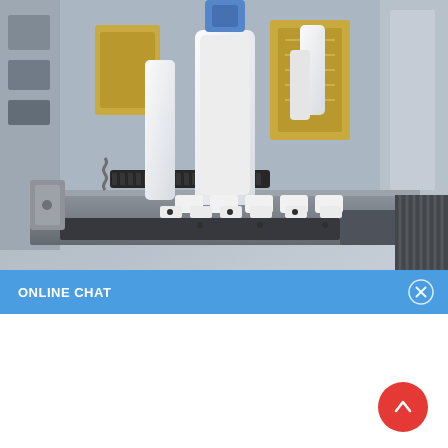[Figure (photo): Close-up photo of an industrial automated machine with white robotic components, springs, metal fixtures, circuit boards, and a precision work platform. The machine appears to be a specialized manufacturing or assembly device.]
ONLINE CHAT
[Figure (photo): Circular avatar photo of a young woman named Cilina, wearing a light blue shirt, with a professional appearance. Used as a chat agent avatar.]
Cilina
Hi,welcome to visit our website.